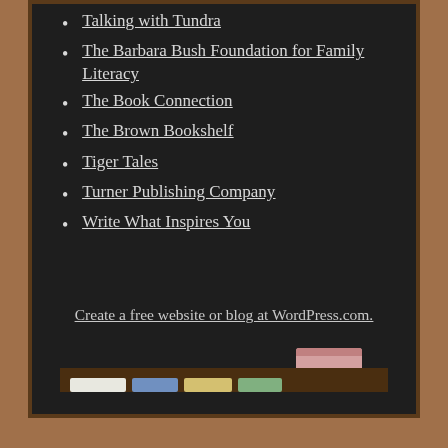Talking with Tundra
The Barbara Bush Foundation for Family Literacy
The Book Connection
The Brown Bookshelf
Tiger Tales
Turner Publishing Company
Write What Inspires You
Create a free website or blog at WordPress.com.